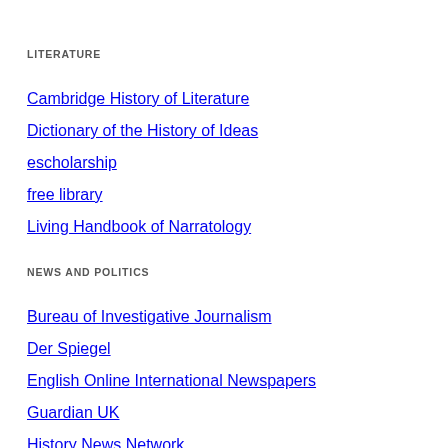LITERATURE
Cambridge History of Literature
Dictionary of the History of Ideas
escholarship
free library
Living Handbook of Narratology
NEWS AND POLITICS
Bureau of Investigative Journalism
Der Spiegel
English Online International Newspapers
Guardian UK
History News Network
Inter Press Service